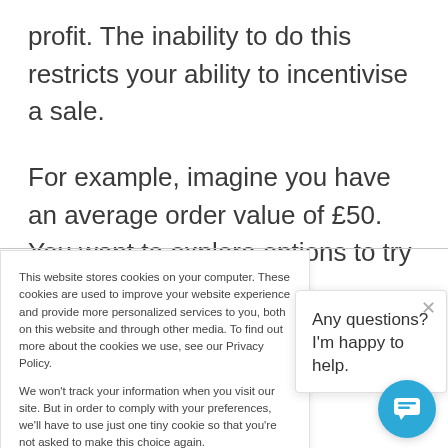profit. The inability to do this restricts your ability to incentivise a sale.
For example, imagine you have an average order value of £50. You want to explore options to try
This website stores cookies on your computer. These cookies are used to improve your website experience and provide more personalized services to you, both on this website and through other media. To find out more about the cookies we use, see our Privacy Policy.
We won't track your information when you visit our site. But in order to comply with your preferences, we'll have to use just one tiny cookie so that you're not asked to make this choice again.
Any questions? I'm happy to help.